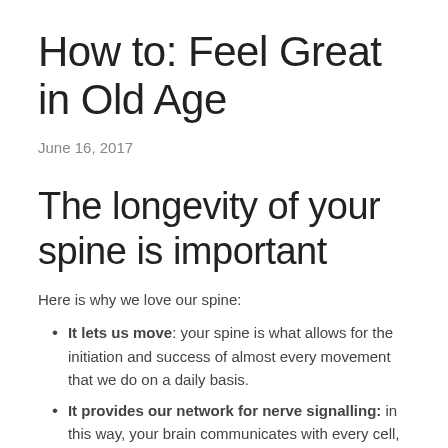How to: Feel Great in Old Age
June 16, 2017
The longevity of your spine is important
Here is why we love our spine:
It lets us move: your spine is what allows for the initiation and success of almost every movement that we do on a daily basis.
It provides our network for nerve signalling: in this way, your brain communicates with every cell, tissue and organ in your body. This allows most fundamental operations to take place.